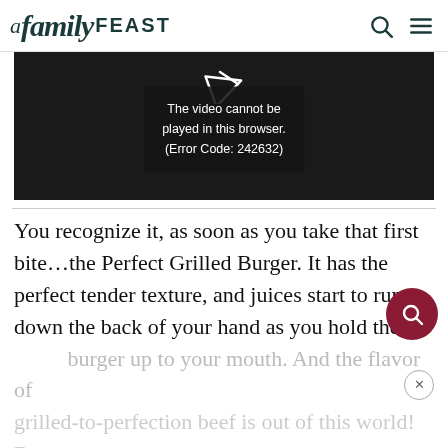A Family FEAST
[Figure (screenshot): Video player showing error message: The video cannot be played in this browser. (Error Code: 242632)]
You recognize it, as soon as you take that first bite…the Perfect Grilled Burger. It has the perfect tender texture, and juices start to run down the back of your hand as you hold the burger up to your mouth. And the flavor of grilled-to-perfection beef is out of this world! But